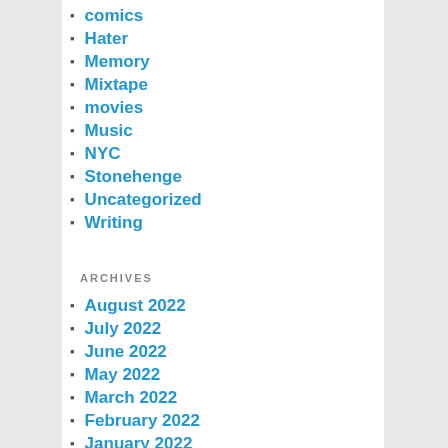comics
Hater
Memory
Mixtape
movies
Music
NYC
Stonehenge
Uncategorized
Writing
ARCHIVES
August 2022
July 2022
June 2022
May 2022
March 2022
February 2022
January 2022
December 2021
November 2021